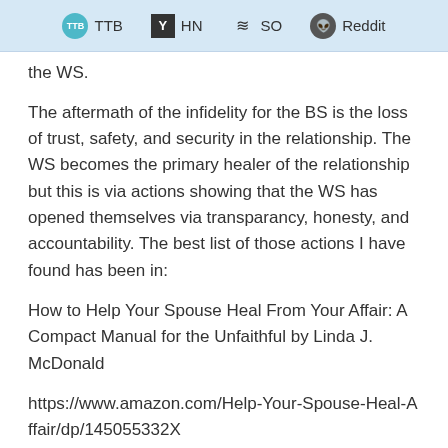TTB | HN | SO | Reddit
the WS.
The aftermath of the infidelity for the BS is the loss of trust, safety, and security in the relationship. The WS becomes the primary healer of the relationship but this is via actions showing that the WS has opened themselves via transparancy, honesty, and accountability. The best list of those actions I have found has been in:
How to Help Your Spouse Heal From Your Affair: A Compact Manual for the Unfaithful by Linda J. McDonald
https://www.amazon.com/Help-Your-Spouse-Heal-Affair/dp/145055332X
PDF found here:
https://www.scribd.com/doc/65498163/How-to-Help-11-